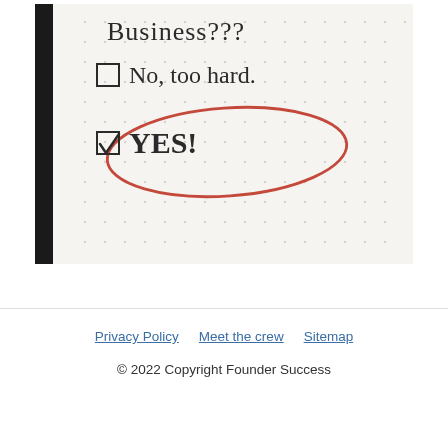[Figure (photo): Handwritten notebook page showing 'Business???' as a heading with two checkbox options: an unchecked box labeled 'No, too hard.' and a checked box labeled 'YES!' circled in red ink.]
Privacy Policy   Meet the crew   Sitemap
© 2022 Copyright Founder Success